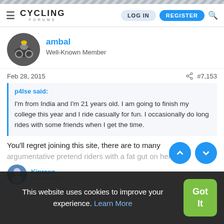CYCLING FORUMS — LOG IN | REGISTER
ambal
Well-Known Member
Feb 28, 2015   #7,153
p4lse said:

I'm from India and I'm 21 years old. I am going to finish my college this year and I ride casually for fun. I occasionally do long rides with some friends when I get the time.
You'll regret joining this site, there are to many argumentative pretend riders with a fat gut on here
Kiprasn
New Member
This website uses cookies to improve your experience. Learn More